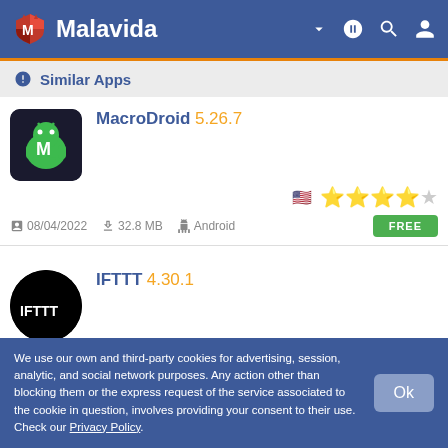Malavida
Similar Apps
MacroDroid 5.26.7 | 08/04/2022 | 32.8 MB | Android | FREE
IFTTT 4.30.1 | 08/23/2022 | 23.6 MB | Android | FREE
Tap Counter 2.4
We use our own and third-party cookies for advertising, session, analytic, and social network purposes. Any action other than blocking them or the express request of the service associated to the cookie in question, involves providing your consent to their use. Check our Privacy Policy.